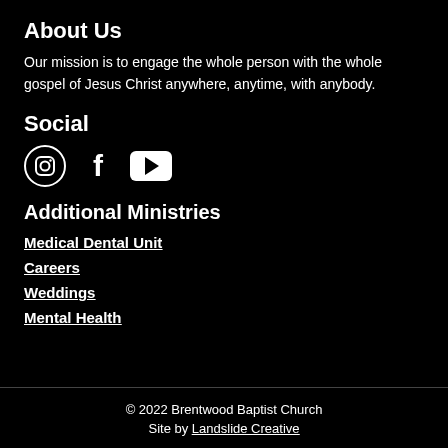About Us
Our mission is to engage the whole person with the whole gospel of Jesus Christ anywhere, anytime, with anybody.
Social
[Figure (illustration): Three social media icons: Instagram (circle with camera outline), Facebook (bold letter f), YouTube (white rectangle with black play triangle)]
Additional Ministries
Medical Dental Unit
Careers
Weddings
Mental Health
© 2022 Brentwood Baptist Church
Site by Landslide Creative